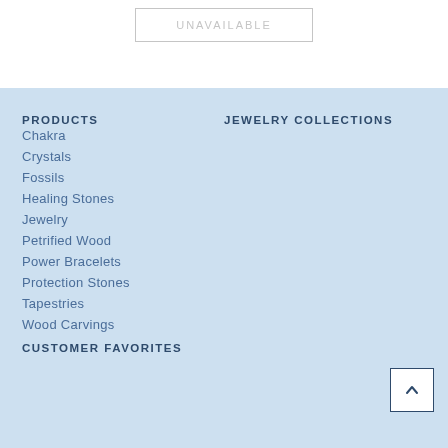UNAVAILABLE
PRODUCTS
Chakra
Crystals
Fossils
Healing Stones
Jewelry
Petrified Wood
Power Bracelets
Protection Stones
Tapestries
Wood Carvings
JEWELRY COLLECTIONS
CUSTOMER FAVORITES